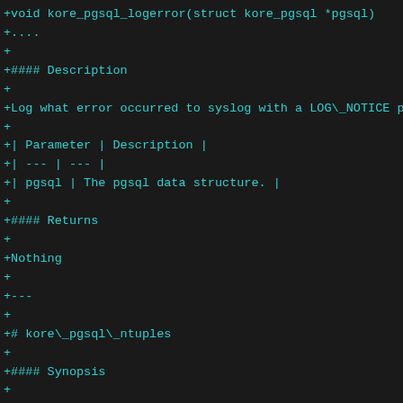+void kore_pgsql_logerror(struct kore_pgsql *pgsql)
+....
+
+#### Description
+
+Log what error occurred to syslog with a LOG\_NOTICE p
+
+| Parameter | Description |
+| --- | --- |
+| pgsql | The pgsql data structure. |
+
+#### Returns
+
+Nothing
+
+---
+
+# kore\_pgsql\_ntuples
+
+#### Synopsis
+
+ ....
+
+int kore_pgsql_ntuples(struct kore_pgsql *pgsql)
+ ....
+
+
+#### Description
+
+Returns the number of tuples affected by a query.
+
+| Parameter | Description |